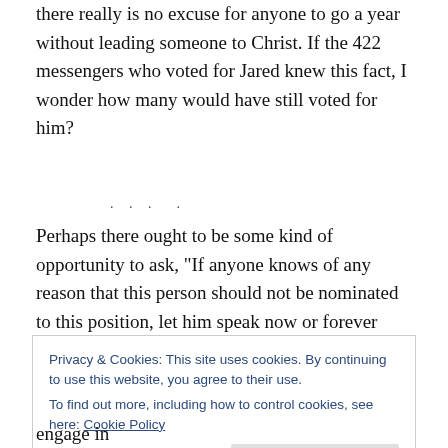there really is no excuse for anyone to go a year without leading someone to Christ. If the 422 messengers who voted for Jared knew this fact, I wonder how many would have still voted for him?
Perhaps there ought to be some kind of opportunity to ask, "If anyone knows of any reason that this person should not be nominated to this position, let him speak now or forever
Privacy & Cookies: This site uses cookies. By continuing to use this website, you agree to their use.
To find out more, including how to control cookies, see here: Cookie Policy
engage in